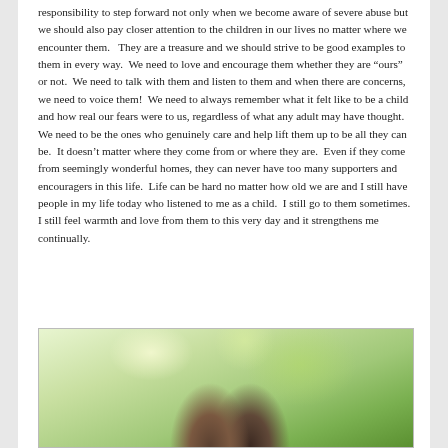responsibility to step forward not only when we become aware of severe abuse but we should also pay closer attention to the children in our lives no matter where we encounter them.   They are a treasure and we should strive to be good examples to them in every way.  We need to love and encourage them whether they are “ours” or not.  We need to talk with them and listen to them and when there are concerns, we need to voice them!  We need to always remember what it felt like to be a child and how real our fears were to us, regardless of what any adult may have thought.  We need to be the ones who genuinely care and help lift them up to be all they can be.  It doesn’t matter where they come from or where they are.  Even if they come from seemingly wonderful homes, they can never have too many supporters and encouragers in this life.  Life can be hard no matter how old we are and I still have people in my life today who listened to me as a child.  I still go to them sometimes.  I still feel warmth and love from them to this very day and it strengthens me continually.
[Figure (photo): A photo showing two people (appears to be adults or a parent and child) with a soft blurry green foliage background, cropped at the bottom of the page.]